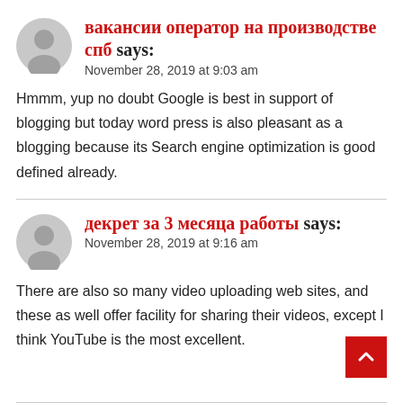вакансии оператор на производстве спб says:
November 28, 2019 at 9:03 am
Hmmm, yup no doubt Google is best in support of blogging but today word press is also pleasant as a blogging because its Search engine optimization is good defined already.
декрет за 3 месяца работы says:
November 28, 2019 at 9:16 am
There are also so many video uploading web sites, and these as well offer facility for sharing their videos, except I think YouTube is the most excellent.